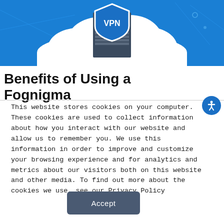[Figure (illustration): VPN cloud illustration: blue background with network lines, a white cloud shape, a server rack, and a blue shield with 'VPN' text in white]
Benefits of Using a Fognigma
This website stores cookies on your computer. These cookies are used to collect information about how you interact with our website and allow us to remember you. We use this information in order to improve and customize your browsing experience and for analytics and metrics about our visitors both on this website and other media. To find out more about the cookies we use, see our Privacy Policy
Accept